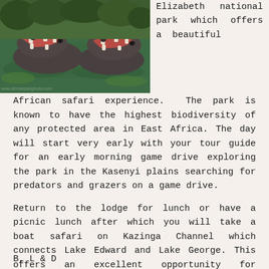[Figure (photo): Two hippos in a green water body with their mouths open, photographed at a national park in Africa.]
Elizabeth national park which offers a beautiful African safari experience. The park is known to have the highest biodiversity of any protected area in East Africa. The day will start very early with your tour guide for an early morning game drive exploring the park in the Kasenyi plains searching for predators and grazers on a game drive.
Return to the lodge for lunch or have a picnic lunch after which you will take a boat safari on Kazinga Channel which connects Lake Edward and Lake George. This offers an excellent opportunity for photography moments of Hippos, Buffaloes, Elephants and magnificent bird species by the water.
B, L & D